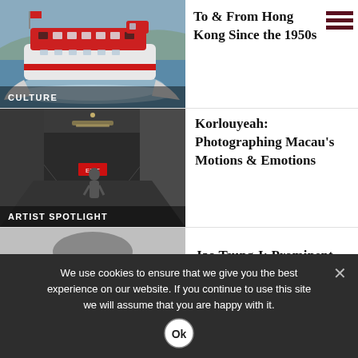[Figure (photo): Red high-speed ferry boat on water with wake, Hong Kong ferry photo]
CULTURE
To & From Hong Kong Since the 1950s
[Figure (photo): Dark corridor/hallway with person walking, moody black and white style photography]
ARTIST SPOTLIGHT
Korlouyeah: Photographing Macau's Motions & Emotions
[Figure (photo): Partial view of elderly person, close-up portrait]
Jao Tsung-I: Prominent
We use cookies to ensure that we give you the best experience on our website. If you continue to use this site we will assume that you are happy with it.